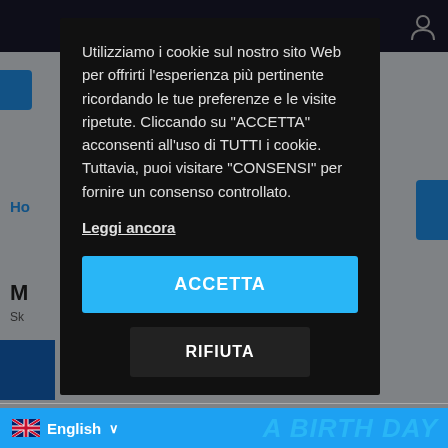[Figure (screenshot): Cookie consent modal dialog over a partially visible website background. The modal on a black background contains Italian cookie consent text, a 'Leggi ancora' link, a blue 'ACCETTA' button, and a dark 'RIFIUTA' button. At the bottom is a blue language selector bar showing an English flag and 'English', and 'A BIRTH DAY' text in blue.]
Utilizziamo i cookie sul nostro sito Web per offrirti l'esperienza più pertinente ricordando le tue preferenze e le visite ripetute. Cliccando su "ACCETTA" acconsenti all'uso di TUTTI i cookie. Tuttavia, puoi visitare "CONSENSI" per fornire un consenso controllato.
Leggi ancora
ACCETTA
RIFIUTA
English
A BIRTH DAY